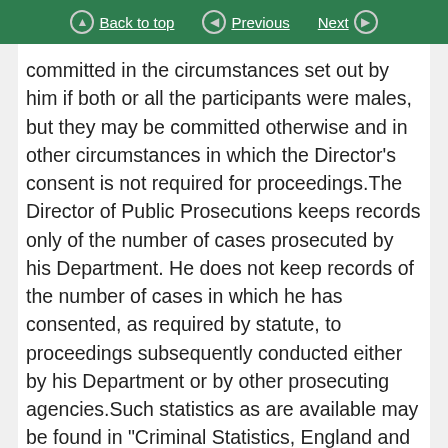Back to top | Previous | Next
committed in the circumstances set out by him if both or all the participants were males, but they may be committed otherwise and in other circumstances in which the Director's consent is not required for proceedings.The Director of Public Prosecutions keeps records only of the number of cases prosecuted by his Department. He does not keep records of the number of cases in which he has consented, as required by statute, to proceedings subsequently conducted either by his Department or by other prosecuting agencies.Such statistics as are available may be found in "Criminal Statistics, England and Wales" published each year by the Home Office.Table 1(